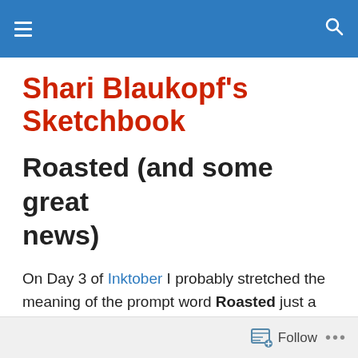Shari Blaukopf's Sketchbook — site header navigation bar
Shari Blaukopf's Sketchbook
Roasted (and some great news)
On Day 3 of Inktober I probably stretched the meaning of the prompt word Roasted just a bit, but I was at the Jean Talon Market on my lunch hour and saw these squash, all lined up and perfectly labelled. I figure someone is going to roast these eventually, right?
Follow